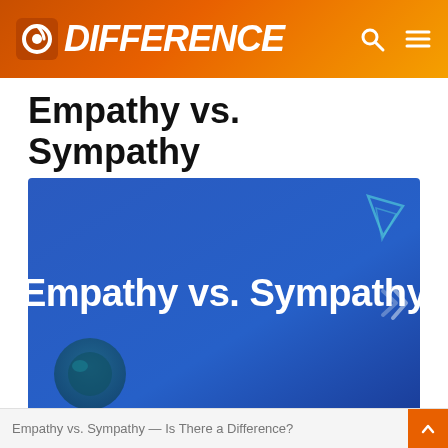DIFFERENCE
Empathy vs. Sympathy
[Figure (illustration): Blue gradient banner image with bold white text reading 'Empathy vs. Sympathy', decorative geometric shapes in corners (teal triangle top-right, dark circle bottom-left), and a chevron navigation arrow on the right side.]
Empathy vs. Sympathy — Is There a Difference?